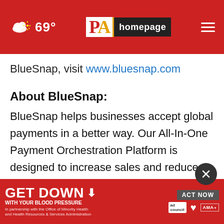69° PA homepage
BlueSnap, visit www.bluesnap.com
About BlueSnap:
BlueSnap helps businesses accept global payments in a better way. Our All-In-One Payment Orchestration Platform is designed to increase sales and reduce costs for all businesses accepting payments. BlueSnap supports payments across all geographies through multiple sales channels such as online and mobile invoice payments and manual orders through a
[Figure (other): Advertisement banner: GET DOWN WITH YOUR BLOOD PRESSURE, in partnership with the Office of Minority Health and Health Resources & Services Administration. ACT NOW button with Ad Council, American Heart Association and AMA logos.]